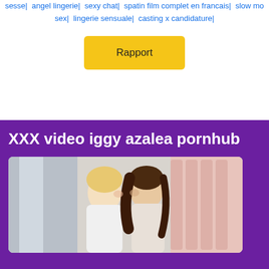sesse| |angel lingerie| |sexy chat| |spatin film complet en francais| |slow mo sex| |lingerie sensuale| |casting x candidature|
Rapport
XXX video iggy azalea pornhub
[Figure (photo): Two women in a bedroom setting, close together, appearing to kiss or whisper]